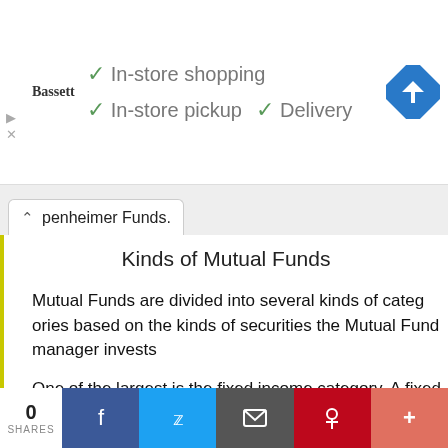[Figure (other): Ad banner for Bassett showing in-store shopping, in-store pickup, and delivery checkmarks with a navigation icon]
penheimer Funds.
Kinds of Mutual Funds
Mutual Funds are divided into several kinds of categories based on the kinds of securities the Mutual Fund manager inve...
One of the largest is the fixed income category. A fixed income Mutual Fund focuses on investments that pay a fixed rate of return like government bonds, corporate bonds or other debt in...
0 SHARES  [Facebook] [Twitter] [Email] [Pinterest] [More]